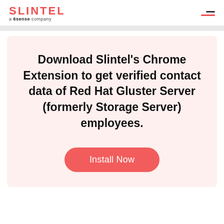SLINTEL a 6sense company
Download Slintel’s Chrome Extension to get verified contact data of Red Hat Gluster Server (formerly Storage Server) employees.
Install Now